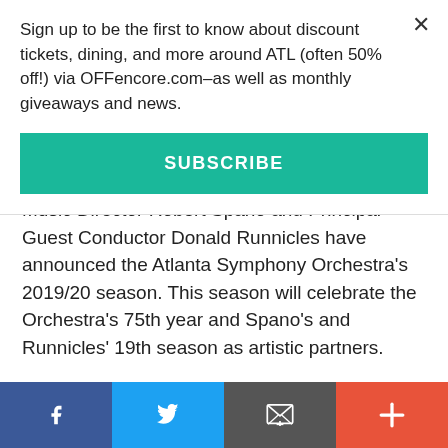Sign up to be the first to know about discount tickets, dining, and more around ATL (often 50% off!) via OFFencore.com–as well as monthly giveaways and news.
SUBSCRIBE
Music Director Robert Spano and Principal Guest Conductor Donald Runnicles have announced the Atlanta Symphony Orchestra's 2019/20 season. This season will celebrate the Orchestra's 75th year and Spano's and Runnicles' 19th season as artistic partners.
READ MORE
Facebook | Twitter | Email | +